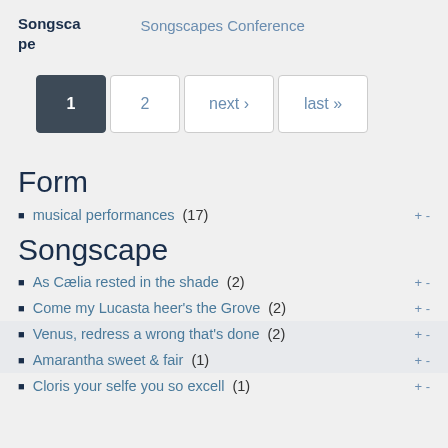Songscape | Songscapes Conference
1  2  next ›  last »
Form
musical performances (17)
Songscape
As Cælia rested in the shade (2)
Come my Lucasta heer's the Grove (2)
Venus, redress a wrong that's done (2)
Amarantha sweet & fair (1)
Cloris your selfe you so excell (1)